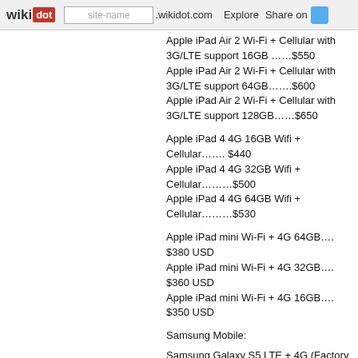wikidot | site-name .wikidot.com | Explore | Share on
Apple iPad Air 2 Wi-Fi + Cellular with 3G/LTE support 16GB ……$550
Apple iPad Air 2 Wi-Fi + Cellular with 3G/LTE support 64GB…….$600
Apple iPad Air 2 Wi-Fi + Cellular with 3G/LTE support 128GB……$650
Apple iPad 4 4G 16GB Wifi + Cellular……. $440
Apple iPad 4 4G 32GB Wifi + Cellular………$500
Apple iPad 4 4G 64GB Wifi + Cellular………$530
Apple iPad mini Wi-Fi + 4G 64GB…. $380 USD
Apple iPad mini Wi-Fi + 4G 32GB…. $360 USD
Apple iPad mini Wi-Fi + 4G 16GB…. $350 USD
Samsung Mobile:
Samsung Galaxy S5 LTE + 4G (Factory Unlocked)